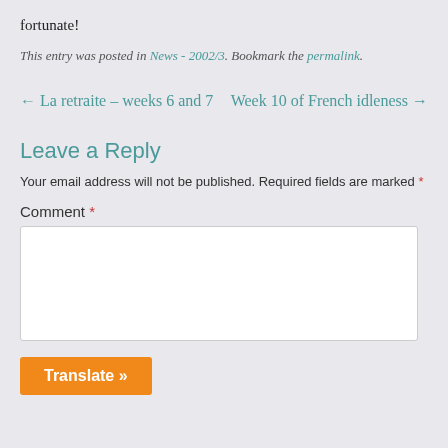fortunate!
This entry was posted in News - 2002/3. Bookmark the permalink.
← La retraite – weeks 6 and 7    Week 10 of French idleness →
Leave a Reply
Your email address will not be published. Required fields are marked *
Comment *